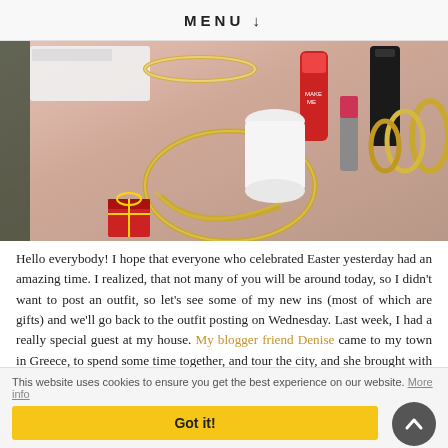MENU ↓
[Figure (photo): Flat lay photo of beauty and jewelry items on a pink fabric background, including gold necklace, bracelets, red lipstick tube, lipstick, small red gift box, and other cosmetics.]
Hello everybody! I hope that everyone who celebrated Easter yesterday had an amazing time. I realized, that not many of you will be around today, so I didn't want to post an outfit, so let's see some of my new ins (most of which are gifts) and we'll go back to the outfit posting on Wednesday. Last week, I had a really special guest at my house. My blogger friend Denise came to my town in Greece, to spend some time together, and tour the city, and she brought with her so many beautiful gifts for me. I can't thank her enough. They are all amazing! The rest are gifts from my godmother, and a little something by me. I'll write down the brands, and gifts, at the end of the
This website uses cookies to ensure you get the best experience on our website. More info
Got it!